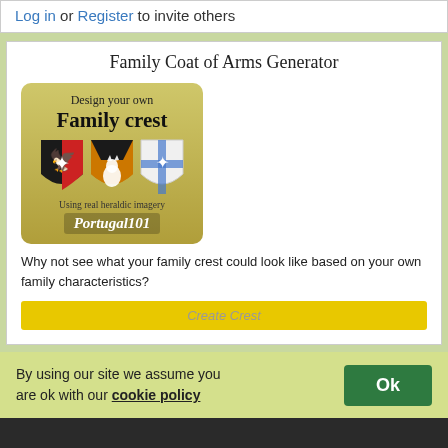Log in or Register to invite others
Family Coat of Arms Generator
[Figure (illustration): Family crest generator advertisement image showing three heraldic shields (black/red with eagle, orange/black with wolf, white/blue with bird) with text 'Design your own Family crest', 'Using real heraldic imagery', 'Portugal101']
Why not see what your family crest could look like based on your own family characteristics?
Create Crest
By using our site we assume you are ok with our cookie policy